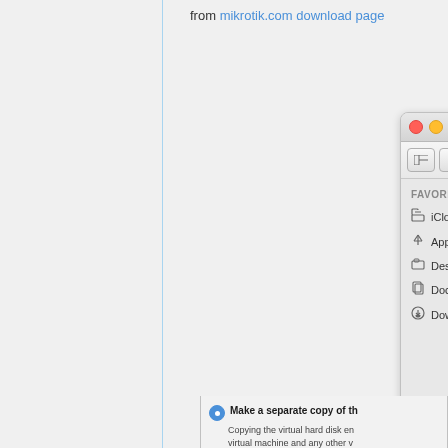from mikrotik.com download page
[Figure (screenshot): macOS Finder window showing sidebar with Favorites (iCloud Drive, Applications, Desktop, Documents, Downloads) and file list with chr-6.34rc19 selected in blue highlight. Toolbar shows navigation and view controls with CHR folder visible.]
Make a separate copy of th
Copying the virtual hard disk en virtual machine and any other v hard disk.  It can however consu Space needed for copy: 22.
Share this virtual disk with